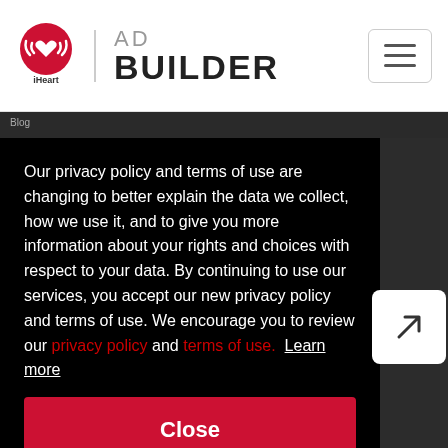[Figure (logo): iHeart logo with a heart/radio wave icon and the text 'iHeart' below, followed by a vertical divider and 'AD BUILDER' text]
Our privacy policy and terms of use are changing to better explain the data we collect, how we use it, and to give you more information about your rights and choices with respect to your data. By continuing to use our services, you accept our new privacy policy and terms of use. We encourage you to review our privacy policy and terms of use. Learn more
Close